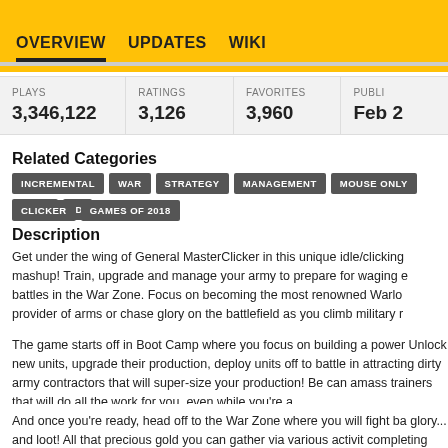OVERVIEW   UPDATES   WIKI
| PLAYS | RATINGS | FAVORITES | PUBLI... |
| --- | --- | --- | --- |
| 3,346,122 | 3,126 | 3,960 | Feb ... |
Related Categories
INCREMENTAL
WAR
STRATEGY
MANAGEMENT
MOUSE ONLY
HTML
ID...
CLICKER
GAMES OF 2018
Description
Get under the wing of General MasterClicker in this unique idle/clicking mashup! Train, upgrade and manage your army to prepare for waging epic battles in the War Zone. Focus on becoming the most renowned Warlord, provider of arms or chase glory on the battlefield as you climb military r...
The game starts off in Boot Camp where you focus on building a power... Unlock new units, upgrade their production, deploy units off to battle in attracting dirty army contractors that will super-size your production! Be can amass trainers that will do all the work for you, even while you're a...
And once you're ready, head off to the War Zone where you will fight ba glory... and loot! All that precious gold you can gather via various activit completing missions, will provide you that extra boost to your Boot Ca...